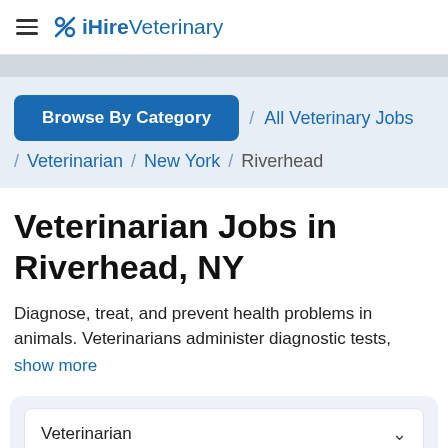iHireVeterinary
Browse By Category / All Veterinary Jobs / Veterinarian / New York / Riverhead
Veterinarian Jobs in Riverhead, NY
Diagnose, treat, and prevent health problems in animals. Veterinarians administer diagnostic tests, show more
Veterinarian